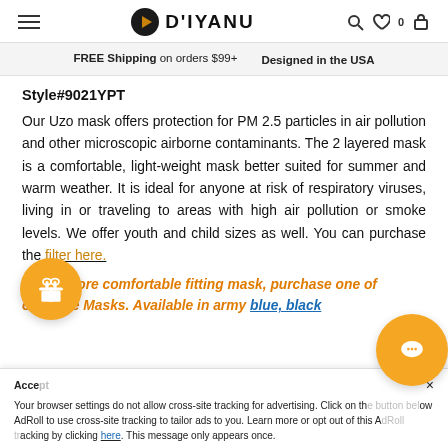D'IYANU
FREE Shipping on orders $99+  |  Designed in the USA
Style#9021YPT
Our Uzo mask offers protection for PM 2.5 particles in air pollution and other microscopic airborne contaminants. The 2 layered mask is a comfortable, light-weight mask better suited for summer and warm weather. It is ideal for anyone at risk of respiratory viruses, living in or traveling to areas with high air pollution or smoke levels. We offer youth and child sizes as well. You can purchase the filter here.
*For a more comfortable fitting mask, purchase one of our Face Masks. Available in army blue, black...
Accept  ×
Your browser settings do not allow cross-site tracking for advertising. Click on the button below AdRoll to use cross-site tracking to tailor ads to you. Learn more or opt out of this AdRoll tracking by clicking here. This message only appears once.